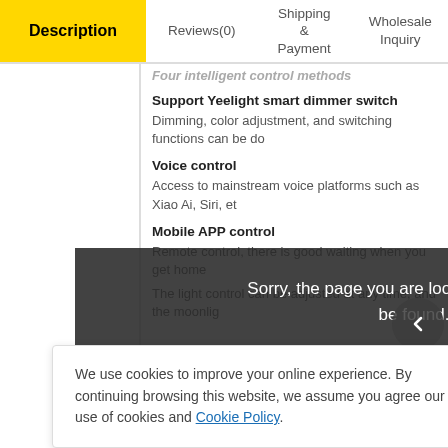Description | Reviews(0) | Shipping & Payment | Wholesale Inquiry
Four intelligent control methods
Support Yeelight smart dimmer switch
Dimming, color adjustment, and switching functions can be do
Voice control
Access to mainstream voice platforms such as Xiao Ai, Siri, et
Mobile APP control
Remote control, there is good waiting when you get home
The light control can be adjusted at any time, and the moonlig
Sorry, the page you are looking for could not be found.
Upgrade large-angle light-emitting surface
The size of the lamp body is all upgraded, and the larger lumi
restore the color of h
95, and colors are hig
We use cookies to improve your online experience. By continuing browsing this website, we assume you agree our use of cookies and Cookie Policy.